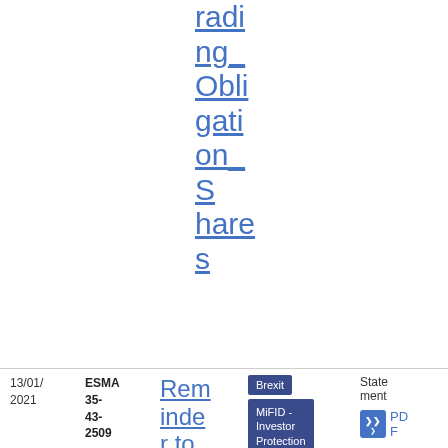rading_Obligation_Shares
| Date | Reference | Title | Tags | Type | Pages/Size |
| --- | --- | --- | --- | --- | --- |
| 13/01/2021 | ESMA 35-43-2509 | Reminder to firms of the MiFID II rules on 'reverse solicitation | Brexit | MiFID - Investor Protection | Statement | PDF 15 1.2 KB |